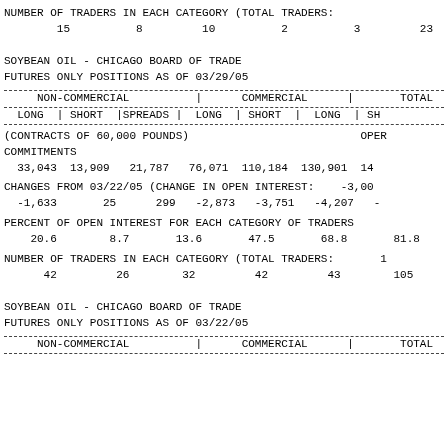NUMBER OF TRADERS IN EACH CATEGORY (TOTAL TRADERS:
15          8         10          2          3         23
SOYBEAN OIL - CHICAGO BOARD OF TRADE
FUTURES ONLY POSITIONS AS OF 03/29/05
| NON-COMMERCIAL | COMMERCIAL | TOTAL |
| --- | --- | --- |
| LONG | SHORT |SPREADS | LONG | SHORT | LONG | SH |
| (CONTRACTS OF 60,000 POUNDS)                         OPEN |
| COMMITMENTS |
| 33,043  13,909   21,787   76,071  110,184  130,901  14 |
| CHANGES FROM 03/22/05 (CHANGE IN OPEN INTEREST:    -3,00 |
| -1,633       25      299   -2,873   -3,751   -4,207  - |
| PERCENT OF OPEN INTEREST FOR EACH CATEGORY OF TRADERS |
| 20.6        8.7       13.6       47.5       68.8       81.8 |
| NUMBER OF TRADERS IN EACH CATEGORY (TOTAL TRADERS:       1 |
| 42         26        32         42         43        105 |
SOYBEAN OIL - CHICAGO BOARD OF TRADE
FUTURES ONLY POSITIONS AS OF 03/22/05
| NON-COMMERCIAL | COMMERCIAL | TOTAL |
| --- | --- | --- |